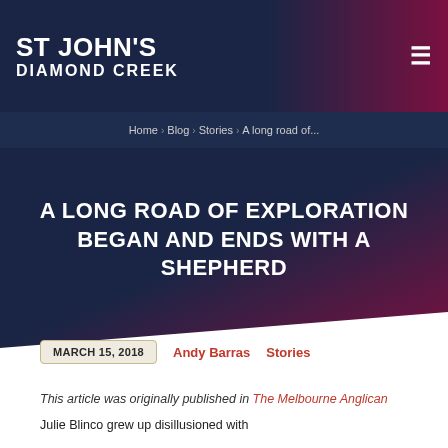ST JOHN'S DIAMOND CREEK
Home > Blog > Stories > A long road of...
A LONG ROAD OF EXPLORATION BEGAN AND ENDS WITH A SHEPHERD
MARCH 15, 2018   Andy Barras   Stories
This article was originally published in The Melbourne Anglican
Julie Blinco grew up disillusioned with